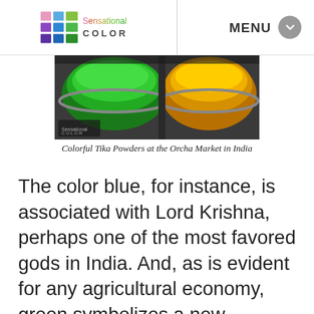Sensational COLOR — MENU
[Figure (photo): Colorful Tika Powders in metal bowls at the Orcha Market in India — green powder on the left, yellow/orange powder on the right]
Colorful Tika Powders at the Orcha Market in India
The color blue, for instance, is associated with Lord Krishna, perhaps one of the most favored gods in India. And, as is evident for any agricultural economy, green symbolizes a new beginning, harvest, and happiness. It is also the